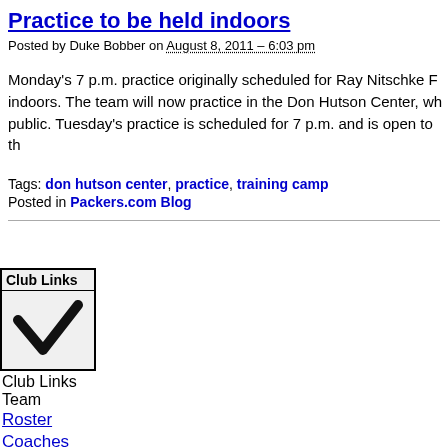Practice to be held indoors
Posted by Duke Bobber on August 8, 2011 – 6:03 pm
Monday's 7 p.m. practice originally scheduled for Ray Nitschke F… indoors. The team will now practice in the Don Hutson Center, wh… public. Tuesday's practice is scheduled for 7 p.m. and is open to th…
Tags: don hutson center, practice, training camp
Posted in Packers.com Blog
[Figure (other): Club Links dropdown widget with a checkmark icon]
Club Links
Team
Roster
Coaches
Depth Chart
Injury Report